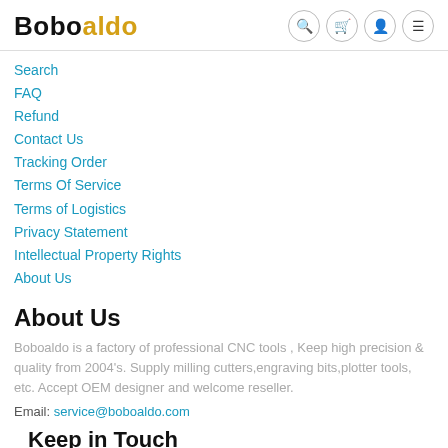Boboaldo
Search
FAQ
Refund
Contact Us
Tracking Order
Terms Of Service
Terms of Logistics
Privacy Statement
Intellectual Property Rights
About Us
About Us
Boboaldo is a factory of professional CNC tools , Keep high precision & quality from 2004's. Supply milling cutters,engraving bits,plotter tools, etc. Accept OEM designer and welcome reseller.
Email: service@boboaldo.com
Keep in Touch